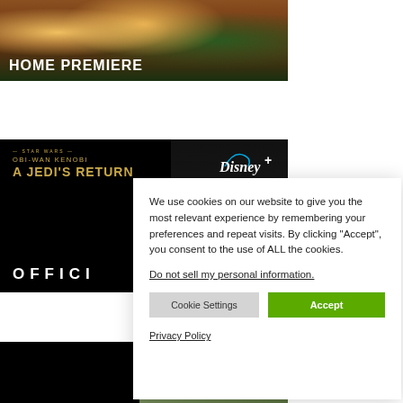[Figure (screenshot): Movie thumbnail with animated characters and 'HOME PREMIERE' text overlay]
[Figure (screenshot): Star Wars: Obi-Wan Kenobi - A Jedi's Return official Disney+ banner with OFFICI text visible]
We use cookies on our website to give you the most relevant experience by remembering your preferences and repeat visits. By clicking “Accept”, you consent to the use of ALL the cookies.
Do not not sell my personal information.
Cookie Settings
Accept
Privacy Policy
[Figure (screenshot): Dark thumbnail images at bottom of page]